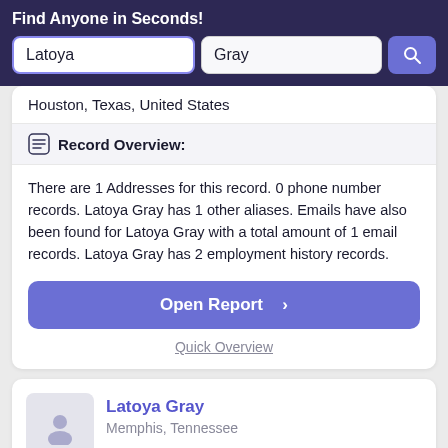Find Anyone in Seconds!
Latoya
Gray
Houston, Texas, United States
Record Overview:
There are 1 Addresses for this record. 0 phone number records. Latoya Gray has 1 other aliases. Emails have also been found for Latoya Gray with a total amount of 1 email records. Latoya Gray has 2 employment history records.
Open Report >
Quick Overview
Latoya Gray
Memphis, Tennessee